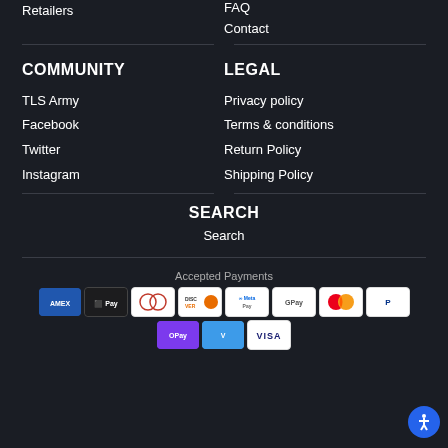Retailers
FAQ
Contact
COMMUNITY
LEGAL
TLS Army
Facebook
Twitter
Instagram
Privacy policy
Terms & conditions
Return Policy
Shipping Policy
SEARCH
Search
Accepted Payments
[Figure (other): Payment method icons: AMEX, Apple Pay, Diners Club, Discover, Meta Pay, Google Pay, Mastercard, PayPal, OPay, Venmo, Visa]